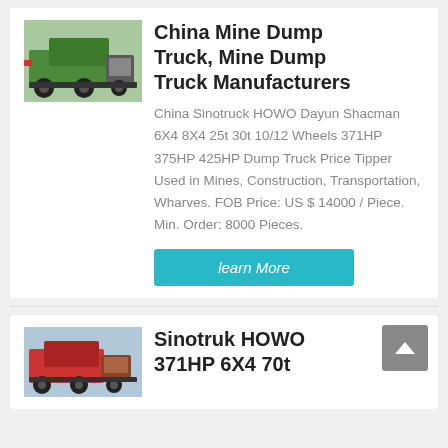[Figure (photo): Green dump truck viewed from rear-left, parked on street]
China Mine Dump Truck, Mine Dump Truck Manufacturers
China Sinotruck HOWO Dayun Shacman 6X4 8X4 25t 30t 10/12 Wheels 371HP 375HP 425HP Dump Truck Price Tipper Used in Mines, Construction, Transportation, Wharves. FOB Price: US $ 14000 / Piece. Min. Order: 8000 Pieces.
learn More
[Figure (photo): Red dump truck parked outdoors near building]
Sinotruk HOWO 371HP 6X4 70t